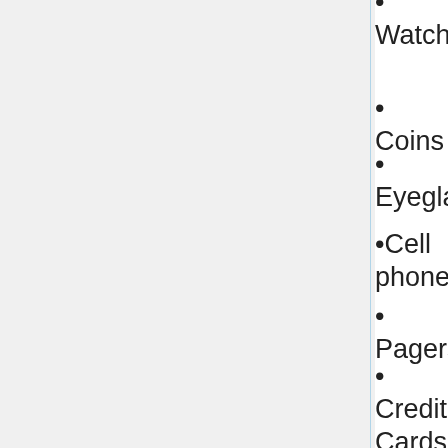Watches
Coins
Eyeglasses
Cell phones
Pagers
Credit Cards
Small metal objects such as hair pins, paper clips, safety